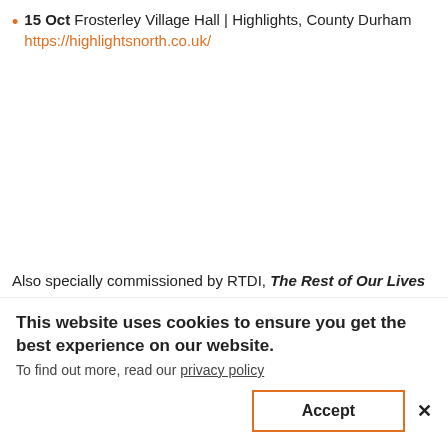15 Oct Frosterley Village Hall | Highlights, County Durham https://highlightsnorth.co.uk/
Also specially commissioned by RTDI, The Rest of Our Lives by Jo Fong and George Orange is a cabaret of life – and near death. Jo is an old dancer, George an old clown. They've both reached the mid-way point of their lives, and now they're wondering, what next? Armed with a soundtrack of floor–fillers, a book of raffle tickets and a
This website uses cookies to ensure you get the best experience on our website. To find out more, read our privacy policy